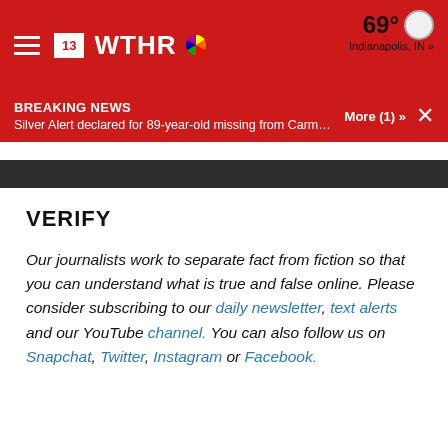13 WTHR — 69° Indianapolis, IN »
BREAKING NEWS
Silver Alert declared for 89-year-old missing from Carmel R... More (1) »
VERIFY
Our journalists work to separate fact from fiction so that you can understand what is true and false online. Please consider subscribing to our daily newsletter, text alerts and our YouTube channel. You can also follow us on Snapchat, Twitter, Instagram or Facebook.